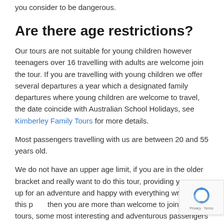you consider to be dangerous.
Are there age restrictions?
Our tours are not suitable for young children however teenagers over 16 travelling with adults are welcome join the tour. If you are travelling with young children we offer several departures a year which a designated family departures where young children are welcome to travel, the date coincide with Australian School Holidays, see Kimberley Family Tours for more details.
Most passengers travelling with us are between 20 and 55 years old.
We do not have an upper age limit, if you are in the older bracket and really want to do this tour, providing you are up for an adventure and happy with everything written on this p... then you are more than welcome to join our tours, some most interesting and adventurous passengers have been